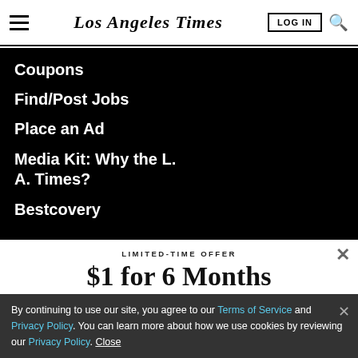Los Angeles Times — LOG IN
Coupons
Find/Post Jobs
Place an Ad
Media Kit: Why the L. A. Times?
Bestcovery
LIMITED-TIME OFFER
$1 for 6 Months
SUBSCRIBE NOW
By continuing to use our site, you agree to our Terms of Service and Privacy Policy. You can learn more about how we use cookies by reviewing our Privacy Policy. Close